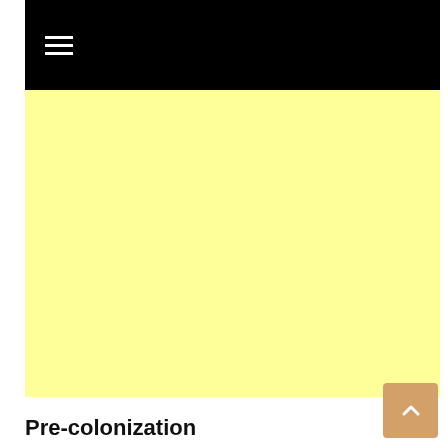[Figure (screenshot): Black header navigation bar with white hamburger menu icon (three horizontal lines)]
[Figure (other): Yellow/cream colored advertisement placeholder area]
Pre-colonization
After the disintegration of the Bunyoro-Kitara Empire (Pastoral Empire), which had been